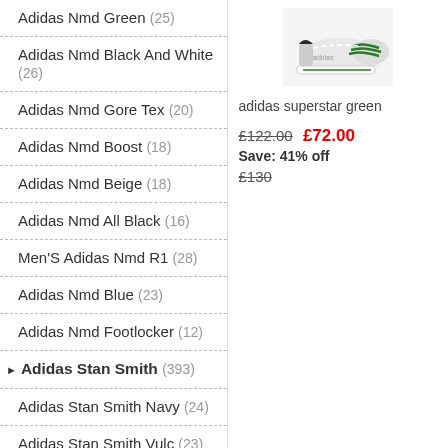Adidas Nmd Green (25)
Adidas Nmd Black And White (26)
Adidas Nmd Gore Tex (20)
Adidas Nmd Boost (18)
Adidas Nmd Beige (18)
Adidas Nmd All Black (16)
Men'S Adidas Nmd R1 (28)
Adidas Nmd Blue (23)
Adidas Nmd Footlocker (12)
Adidas Stan Smith (393)
Adidas Stan Smith Navy (24)
Adidas Stan Smith Vulc (23)
Adidas Stan Smith Vegan (23)
Adidas Originals Stan Smith Vulc (19)
Adidas Stan Smith Black And White (28)
[Figure (photo): Adidas superstar green sneaker product image]
adidas superstar green
£122.00  £72.00  Save: 41% off
£130